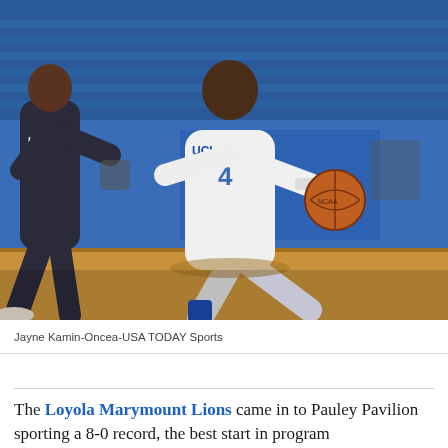[Figure (photo): UCLA basketball player #4 in white uniform dribbling past a LMU defender in dark uniform at Pauley Pavilion. Photo credit: Jayne Kamin-Oncea-USA TODAY Sports]
Jayne Kamin-Oncea-USA TODAY Sports
The Loyola Marymount Lions came in to Pauley Pavilion sporting a 8-0 record, the best start in program